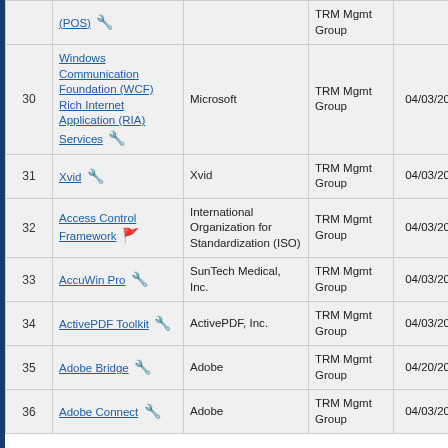| # | Name | Company | Group | Date | Status |
| --- | --- | --- | --- | --- | --- |
| (partial row above) | (POS) 🔧 |  | TRM Mgmt Group |  |  |
| 30 | Windows Communication Foundation (WCF) Rich Internet Application (RIA) Services 🔧 | Microsoft | TRM Mgmt Group | 04/03/2017 | New |
| 31 | Xvid 🔧 | Xvid | TRM Mgmt Group | 04/03/2017 | New |
| 32 | Access Control Framework 🚩 | International Organization for Standardization (ISO) | TRM Mgmt Group | 04/03/2017 | Update |
| 33 | AccuWin Pro 🔧 | SunTech Medical, Inc. | TRM Mgmt Group | 04/03/2017 | Update |
| 34 | ActivePDF Toolkit 🔧 | ActivePDF, Inc. | TRM Mgmt Group | 04/03/2017 | Update |
| 35 | Adobe Bridge 🔧 | Adobe | TRM Mgmt Group | 04/20/2017 | Update |
| 36 | Adobe Connect 🔧 | Adobe | TRM Mgmt Group | 04/03/2017 | Update |